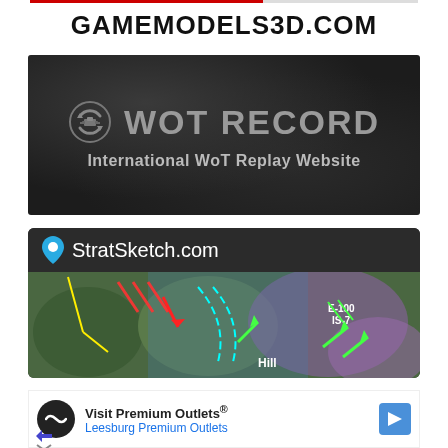GAMEMODELS3D.COM
[Figure (illustration): WoT RECORD banner — dark leather-textured background with circular tank icon and large text 'WoT RECORD' with subtitle 'International WoT Replay Website']
[Figure (screenshot): StratSketch.com banner showing a dark header with blue location pin icon and site name, below which is a game map with colored tactical markings including E-100, IS-7 labels and 'Hill' text]
[Figure (illustration): Advertisement banner: Visit Premium Outlets® — Leesburg Premium Outlets, with circular logo and navigation arrow icon]